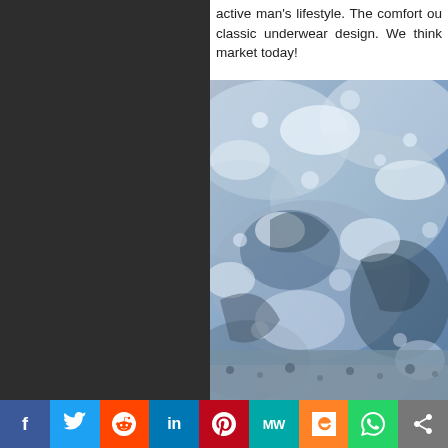active man's lifestyle. The comfort ou classic underwear design. We think market today!
[Figure (photo): Close-up photograph of blue-gray ocean foam or wave texture, showing rough, bubbly sea surface with rocky coastal formation]
Social share bar: Facebook, Twitter, Reddit, LinkedIn, Pinterest, MixedWrench, Mix, WhatsApp, Share